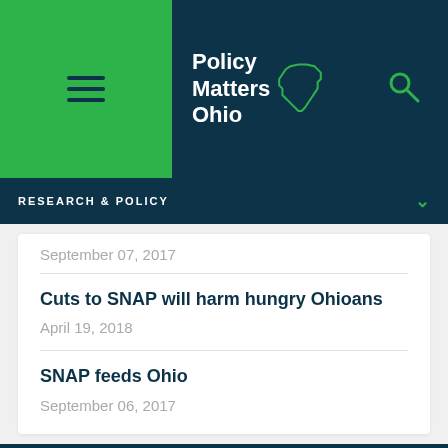[Figure (logo): Policy Matters Ohio logo with Ohio state outline, on dark navy and green navigation bar]
RESEARCH & POLICY
September 07, 2017
Cuts to SNAP will harm hungry Ohioans
April 19, 2018
SNAP feeds Ohio
September 06, 2017
More From Policy Matters